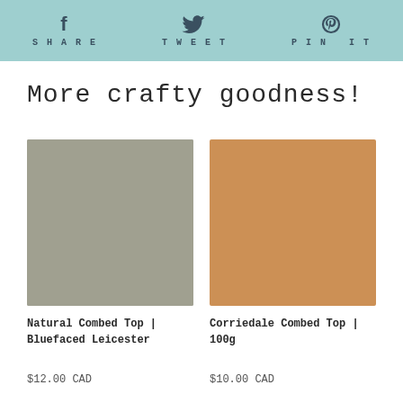[Figure (other): Social sharing bar with Facebook Share, Twitter Tweet, and Pinterest Pin It buttons on teal background]
More crafty goodness!
[Figure (photo): Gray color swatch image for Natural Combed Top Bluefaced Leicester product]
Natural Combed Top | Bluefaced Leicester
$12.00 CAD
[Figure (photo): Tan/caramel color swatch image for Corriedale Combed Top 100g product]
Corriedale Combed Top | 100g
$10.00 CAD